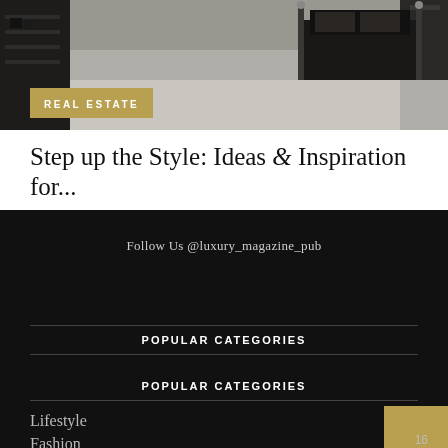[Figure (photo): Interior/bedroom photo with dark furniture on a neutral carpet, with REAL ESTATE badge overlay]
Step up the Style: Ideas & Inspiration for...
Follow Us @luxury_magazine_pub
POPULAR CATEGORIES
POPULAR CATEGORIES
Lifestyle
Fashion